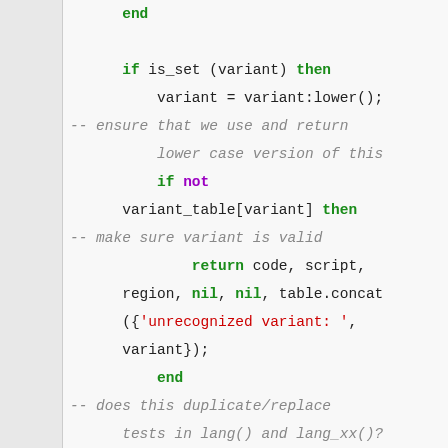372   end
373
374       if is_set (variant) then
375           variant = variant:lower();
-- ensure that we use and return lower case version of this
376           if not variant_table[variant] then
-- make sure variant is valid
377               return code, script, region, nil, nil, table.concat({'unrecognized variant: ', variant});
378           end
-- does this duplicate/replace tests in lang() and lang_xx()?
379           if is_set (script) then